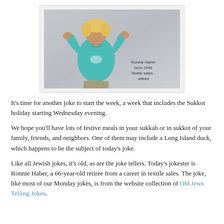[Figure (photo): A woman with blonde hair wearing a teal/turquoise top and khaki pants, arms raised in a gesture. Text overlay reads: Ronnie Haber born 1948 Textile sales - retired]
It's time for another joke to start the week, a week that includes the Sukkot holiday starting Wednesday evening.
We hope you'll have lots of festive meals in your sukkah or in sukkot of your family, friends, and neighbors. One of them may include a Long Island duck, which happens to be the subject of today's joke.
Like all Jewish jokes, it's old, as are the joke tellers. Today's jokester is Ronnie Haber, a 66-year-old retiree from a career in textile sales. The joke, like most of our Monday jokes, is from the website collection of Old Jews Telling Jokes.